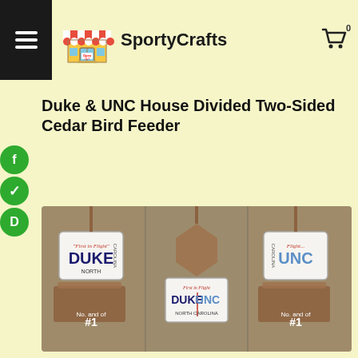SportyCrafts
Duke & UNC House Divided Two-Sided Cedar Bird Feeder
[Figure (photo): Product photo showing Duke & UNC House Divided Two-Sided Cedar Bird Feeder from three angles: left side showing DUKE license plate, center showing DUKE|UNC North Carolina license plate design, right side showing UNC license plate, each mounted on a cedar bird feeder with rope hanger.]